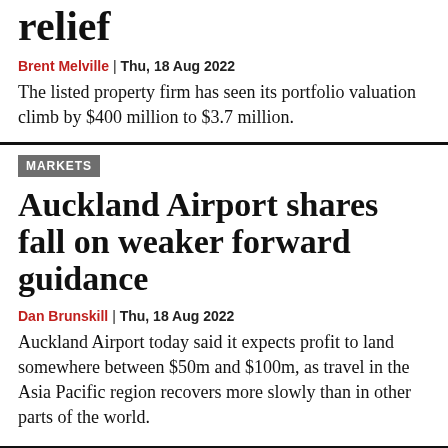relief
Brent Melville | Thu, 18 Aug 2022
The listed property firm has seen its portfolio valuation climb by $400 million to $3.7 million.
MARKETS
Auckland Airport shares fall on weaker forward guidance
Dan Brunskill | Thu, 18 Aug 2022
Auckland Airport today said it expects profit to land somewhere between $50m and $100m, as travel in the Asia Pacific region recovers more slowly than in other parts of the world.
PRIMARY SECTOR FREE